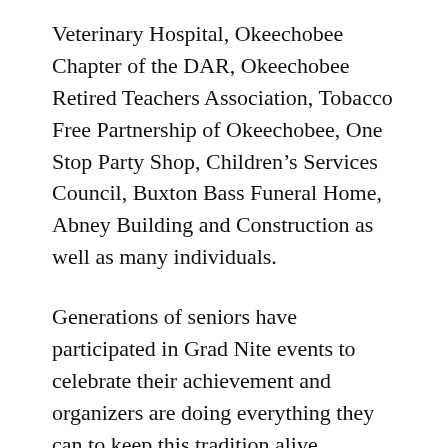Veterinary Hospital, Okeechobee Chapter of the DAR, Okeechobee Retired Teachers Association, Tobacco Free Partnership of Okeechobee, One Stop Party Shop, Children's Services Council, Buxton Bass Funeral Home, Abney Building and Construction as well as many individuals.
Generations of seniors have participated in Grad Nite events to celebrate their achievement and organizers are doing everything they can to keep this tradition alive.